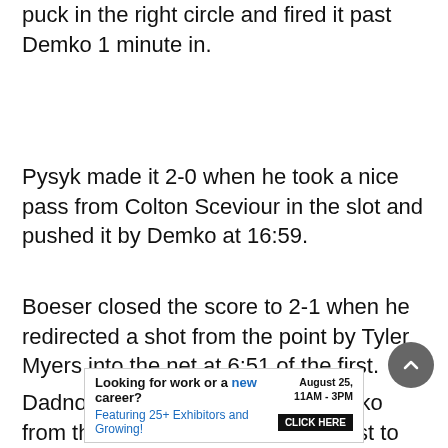puck in the right circle and fired it past Demko 1 minute in.
Pysyk made it 2-0 when he took a nice pass from Colton Sceviour in the slot and pushed it by Demko at 16:59.
Boeser closed the score to 2-1 when he redirected a shot from the point by Tyler Myers into the net at 6:51 of the first.
Dadnov flipped the puck over Demko from the slot with 1:07 left in the first to make it 3-1.
[Figure (infographic): Advertisement banner: 'Looking for work or a new career? August 25, 11AM - 3PM. Featuring 25+ Exhibitors and Growing! CLICK HERE']